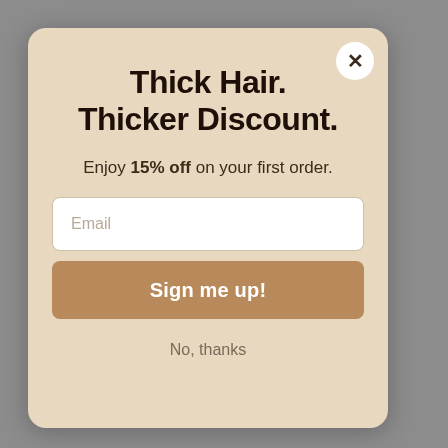Thick Hair. Thicker Discount.
Enjoy 15% off on your first order.
Email
Sign me up!
No, thanks